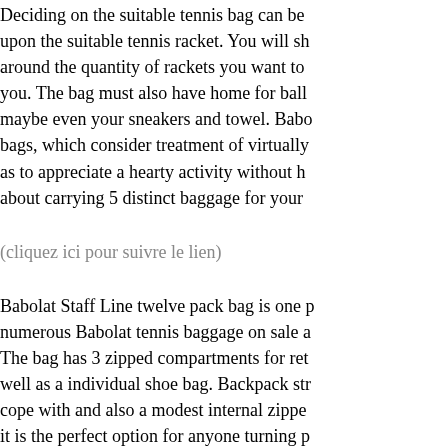Deciding on the suitable tennis bag can be upon the suitable tennis racket. You will sh around the quantity of rackets you want to you. The bag must also have home for ball maybe even your sneakers and towel. Babo bags, which consider treatment of virtually as to appreciate a hearty activity without h about carrying 5 distinct baggage for your
(cliquez ici pour suivre le lien)
Babolat Staff Line twelve pack bag is one numerous Babolat tennis baggage on sale a The bag has 3 zipped compartments for ret well as a individual shoe bag. Backpack str cope with and also a modest internal zippe it is the perfect option for anyone turning p carry bag can be purchased on the internet
Babolat hasn't overlooked the beginners th line of baggage. Its Club Line Backpack Te $24.95 at Internet retailers, features much n tennis fan could inquire for. It has one com a go over for your racket handle. Yet anoth before the racket maintaining space has be keep other equipment. A independent acce been provided in entrance. A have take can and well-padded shoulder pads give this ba